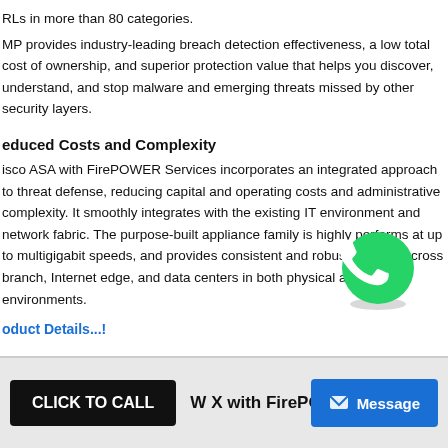RLs in more than 80 categories.
MP provides industry-leading breach detection effectiveness, a low total cost of ownership, and superior protection value that helps you discover, understand, and stop malware and emerging threats missed by other security layers.
educed Costs and Complexity
isco ASA with FirePOWER Services incorporates an integrated approach to threat defense, reducing capital and operating costs and administrative complexity. It smoothly integrates with the existing IT environment and network fabric. The purpose-built appliance family is highly performs at up to multigigabit speeds, and provides consistent and robust security across branch, Internet edge, and data centers in both physical and virtual environments.
oduct Details...!
[Figure (logo): WhatsApp green phone icon]
W X with FirePOWER Firewall